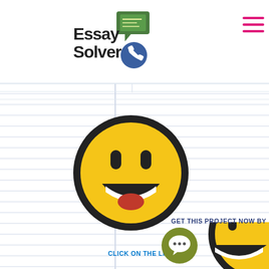[Figure (logo): Essay Solver logo with speech bubble icon and phone icon]
[Figure (illustration): Hamburger menu icon in magenta/pink]
[Figure (illustration): Notebook lined background with vertical margin line]
[Figure (illustration): Large yellow smiley face emoji with big grin]
GET THIS PROJECT NOW BY
[Figure (illustration): Partial yellow smiley face emoji at bottom right corner]
[Figure (illustration): Olive/green circular chat button with speech bubble icon]
CLICK ON THE LINKhttps